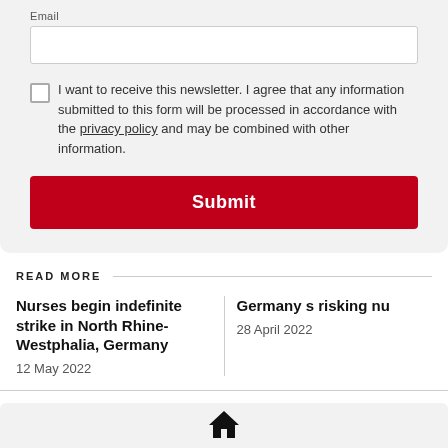Email
I want to receive this newsletter. I agree that any information submitted to this form will be processed in accordance with the privacy policy and may be combined with other information.
Submit
READ MORE
Nurses begin indefinite strike in North Rhine-Westphalia, Germany
12 May 2022
Germany s... risking nu...
28 April 2022